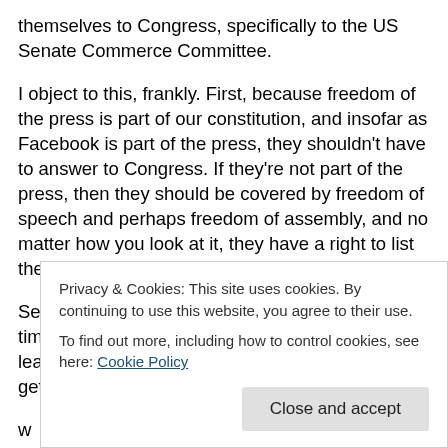themselves to Congress, specifically to the US Senate Commerce Committee.
I object to this, frankly. First, because freedom of the press is part of our constitution, and insofar as Facebook is part of the press, they shouldn't have to answer to Congress. If they're not part of the press, then they should be covered by freedom of speech and perhaps freedom of assembly, and no matter how you look at it, they have a right to list their choice of Greatest Hits on their website.
Second, I object to our legislators wasting their time on this when they continue to be one of the least productive Congresses in history. They can't get it together to come up w... a... e... in... d... lik...
Privacy & Cookies: This site uses cookies. By continuing to use this website, you agree to their use.
To find out more, including how to control cookies, see here: Cookie Policy
Close and accept